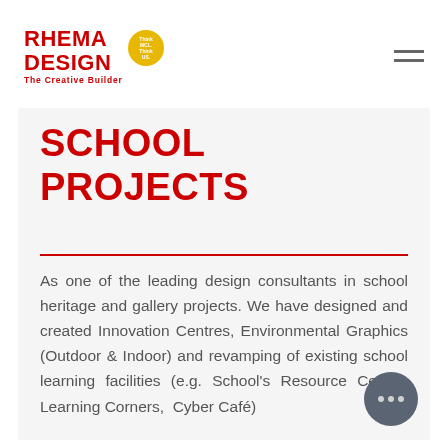RHEMA DESIGN The Creative Builder — navigation header with hamburger menu
SCHOOL PROJECTS
As one of the leading design consultants in school heritage and gallery projects. We have designed and created Innovation Centres, Environmental Graphics (Outdoor & Indoor) and revamping of existing school learning facilities (e.g. School's Resource Centre, Learning Corners,  Cyber Café)